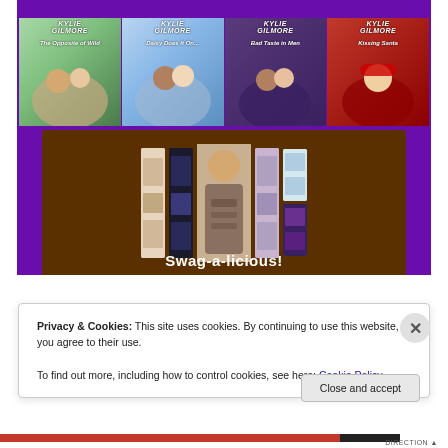[Figure (illustration): Purple background promotional image for author Kylie Gilmore showing four romance novel book covers in a top row (The Opposite of Wild, Daisy Does It On, Bad Taste in Men, Kissing Santa) and below, bookmarks/promotional items displayed on a wooden surface with the text 'Swag-a-licious!' at the bottom.]
Privacy & Cookies: This site uses cookies. By continuing to use this website, you agree to their use.
To find out more, including how to control cookies, see here: Cookie Policy
Close and accept